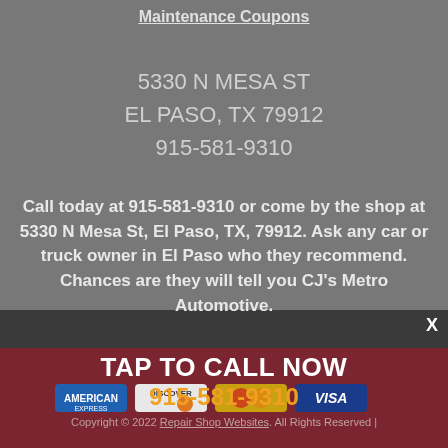Maintenance Coupons
5330 N MESA ST
EL PASO, TX 79912
915-581-9310
Call today at 915-581-9310 or come by the shop at 5330 N Mesa St, El Paso, TX, 79912. Ask any car or truck owner in El Paso who they recommend. Chances are they will tell you CJ's Metro Automotive.
TAP TO CALL NOW
915-581-9310
Copyright © 2022 Repair Shop Websites. All Rights Reserved |